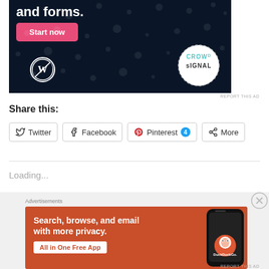[Figure (screenshot): Advertisement banner with dark navy background showing 'and forms.' headline, pink 'Start now' button, WordPress logo, and Crowdsignal circular logo with dotted border]
REPORT THIS AD
Share this:
Twitter  Facebook  Pinterest 4  More
Loading...
Advertisements
[Figure (screenshot): DuckDuckGo advertisement with orange background showing 'Search, browse, and email with more privacy. All in One Free App' with phone mockup and DuckDuckGo logo]